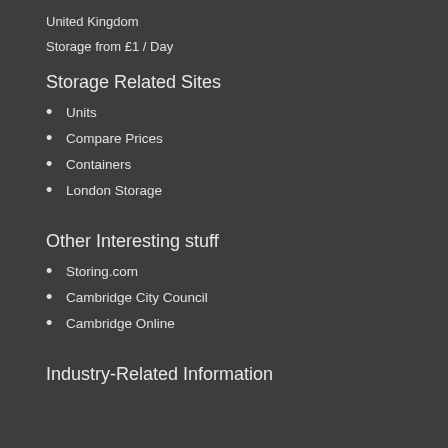United Kingdom
Storage from £1 / Day
Storage Related Sites
Units
Compare Prices
Containers
London Storage
Other Interesting stuff
Storing.com
Cambridge City Council
Cambridge Online
Industry-Related Information